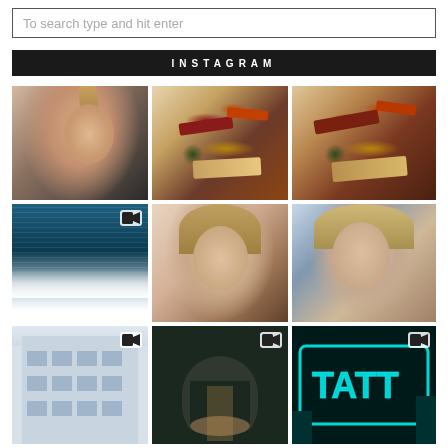To search type and hit enter
INSTAGRAM
[Figure (photo): Young woman with high ponytail, blonde hair, makeup selfie close-up]
[Figure (photo): Collection of makeup products including eyeshadow palettes, lipsticks, and cosmetics scattered on white surface]
[Figure (photo): Similar collection of makeup products including palettes and lipsticks on white surface]
[Figure (photo): Ocean waves crashing with dark teal water, video icon overlay]
[Figure (photo): Young woman with wavy blonde hair, white off-shoulder top, applying lipstick]
[Figure (photo): Young woman with straight blonde hair, beige sweater, posing with hand near face]
[Figure (photo): Building exterior with glass windows, video icon overlay]
[Figure (photo): Dark street scene with archway, video icon overlay]
[Figure (photo): Neon teal sign reading TATT with video icon overlay]